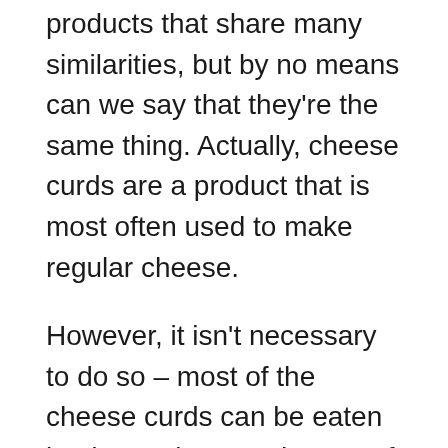products that share many similarities, but by no means can we say that they're the same thing. Actually, cheese curds are a product that is most often used to make regular cheese.
However, it isn't necessary to do so – most of the cheese curds can be eaten by themselves, and many of them are considered a delicacy. For example, in Quebec, Canada, cheese curds are beloved and used to make the traditional dish called poutine.
Related: